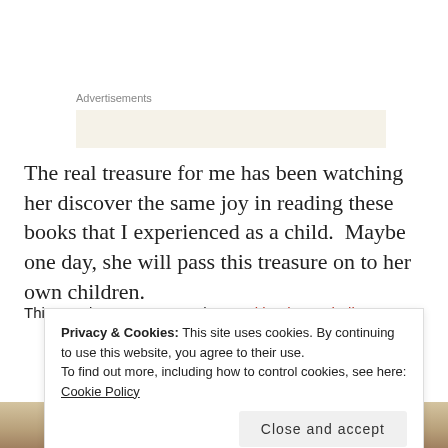Advertisements
The real treasure for me has been watching her discover the same joy in reading these books that I experienced as a child.  Maybe one day, she will pass this treasure on to her own children.
This post is a response to the Weekly Photo Challenge:
Privacy & Cookies: This site uses cookies. By continuing to use this website, you agree to their use.
To find out more, including how to control cookies, see here: Cookie Policy
Close and accept
[Figure (photo): Bottom strip showing a partial photo of a person, likely a child reading]